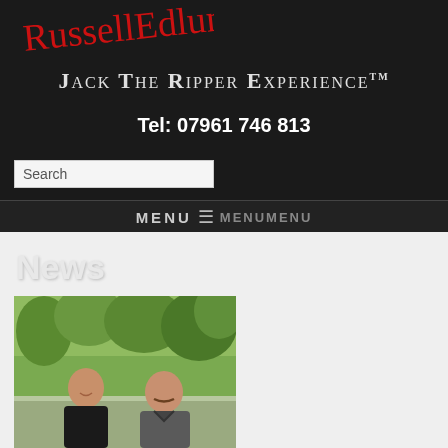[Figure (logo): Cursive red signature logo reading stylized script above Jack The Ripper Experience brand name]
Jack The Ripper Experience™
Tel: 07961 746 813
Search
MENU ☰ MENUMENU
News
[Figure (photo): Two men standing outdoors in front of trees, one bald in dark jacket on left smiling, one older with mustache in grey coat on right]